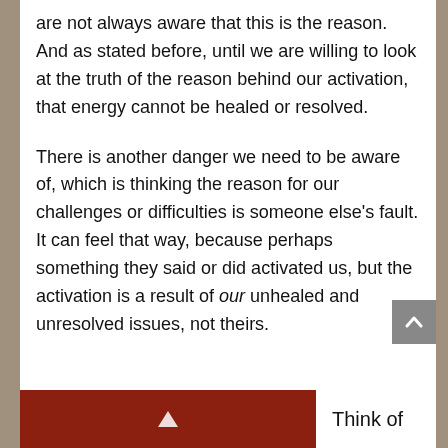are not always aware that this is the reason. And as stated before, until we are willing to look at the truth of the reason behind our activation, that energy cannot be healed or resolved.
There is another danger we need to be aware of, which is thinking the reason for our challenges or difficulties is someone else's fault. It can feel that way, because perhaps something they said or did activated us, but the activation is a result of our unhealed and unresolved issues, not theirs.
Think of